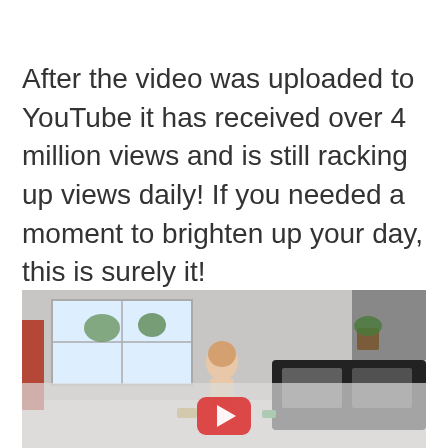After the video was uploaded to YouTube it has received over 4 million views and is still racking up views daily! If you needed a moment to brighten up your day, this is surely it!
[Figure (screenshot): Screenshot of a YouTube video showing a toddler standing in a living room with windows, houseplants, and a dark sofa in the background. A YouTube play button overlay is visible at the bottom center of the image.]